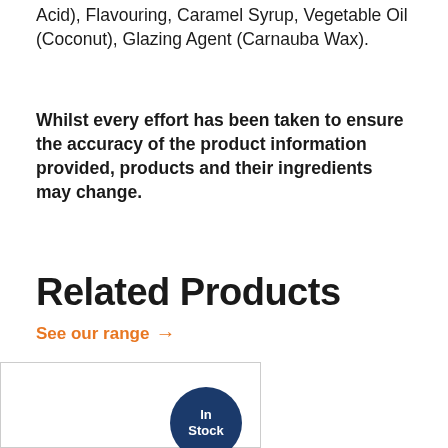Acid), Flavouring, Caramel Syrup, Vegetable Oil (Coconut), Glazing Agent (Carnauba Wax).
Whilst every effort has been taken to ensure the accuracy of the product information provided, products and their ingredients may change.
Related Products
See our range →
[Figure (other): Product card with In Stock badge]